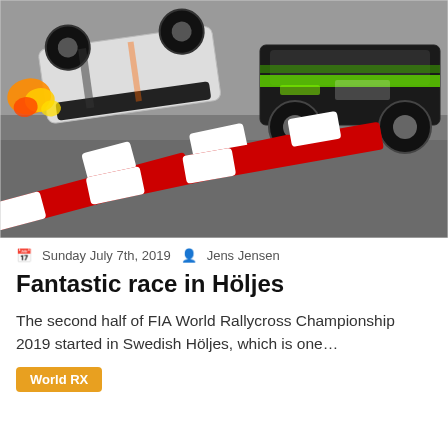[Figure (photo): Rallycross car flipped upside down with fire/sparks, green Hyundai racing car beside it, red and white track barriers in foreground]
Sunday July 7th, 2019   Jens Jensen
Fantastic race in Höljes
The second half of FIA World Rallycross Championship 2019 started in Swedish Höljes, which is one…
World RX